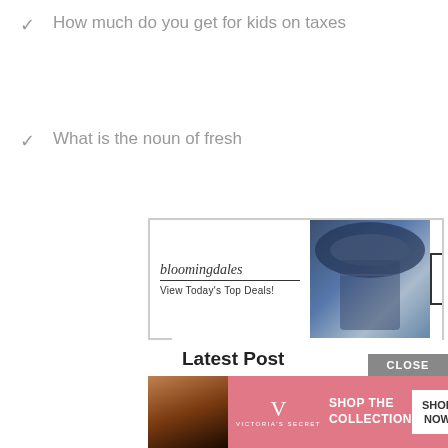How much do you get for kids on taxes
What is the noun of fresh
[Figure (infographic): Bloomingdales advertisement banner: logo, 'View Today's Top Deals!', model photo, SHOP NOW button]
Latest Post
What does the p in the ipde process stand for
How do you make adidas superstars white again
How do you overlay pictures in gimp
[Figure (infographic): Victoria's Secret advertisement banner: model photo, VS logo, 'SHOP THE COLLECTION', SHOP NOW button]